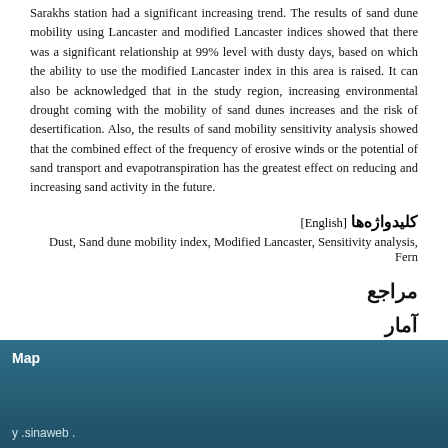Sarakhs station had a significant increasing trend. The results of sand dune mobility using Lancaster and modified Lancaster indices showed that there was a significant relationship at 99% level with dusty days, based on which the ability to use the modified Lancaster index in this area is raised. It can also be acknowledged that in the study region, increasing environmental drought coming with the mobility of sand dunes increases and the risk of desertification. Also, the results of sand mobility sensitivity analysis showed that the combined effect of the frequency of erosive winds or the potential of sand transport and evapotranspiration has the greatest effect on reducing and increasing sand activity in the future.
کلیدواژه‌ها [English]
Dust, Sand dune mobility index, Modified Lancaster, Sensitivity analysis, Fern
مراجع
آمار
تعداد مشاهده مقاله: 42
Map . sinaweb .